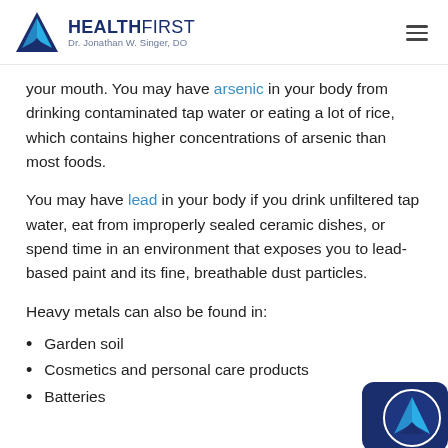HEALTHFIRST Dr. Jonathan W. Singer, DO
your mouth. You may have arsenic in your body from drinking contaminated tap water or eating a lot of rice, which contains higher concentrations of arsenic than most foods.
You may have lead in your body if you drink unfiltered tap water, eat from improperly sealed ceramic dishes, or spend time in an environment that exposes you to lead-based paint and its fine, breathable dust particles.
Heavy metals can also be found in:
Garden soil
Cosmetics and personal care products
Batteries